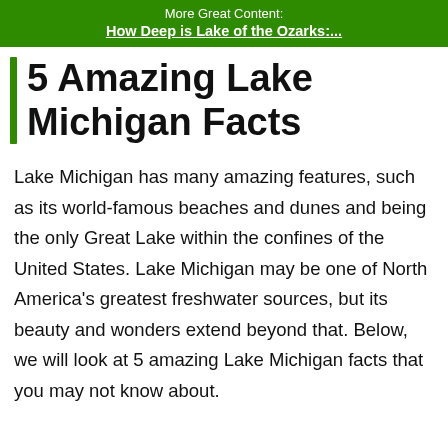More Great Content: How Deep is Lake of the Ozarks:...
5 Amazing Lake Michigan Facts
Lake Michigan has many amazing features, such as its world-famous beaches and dunes and being the only Great Lake within the confines of the United States. Lake Michigan may be one of North America's greatest freshwater sources, but its beauty and wonders extend beyond that. Below, we will look at 5 amazing Lake Michigan facts that you may not know about.